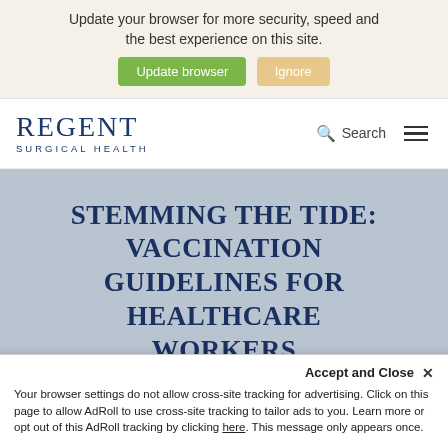[Figure (screenshot): Browser update notification banner with beige background, text prompting user to update browser, with green 'Update browser' and tan 'Ignore' buttons]
[Figure (logo): Regent Surgical Health logo — 'REGENT' in serif font above 'SURGICAL HEALTH' in small caps, dark navy blue, with search icon and hamburger menu on the right]
STEMMING THE TIDE: VACCINATION GUIDELINES FOR HEALTHCARE WORKERS
“Wait, wasn’t that eradicated?” That seems to be the
Your browser settings do not allow cross-site tracking for advertising. Click on this page to allow AdRoll to use cross-site tracking to tailor ads to you. Learn more or opt out of this AdRoll tracking by clicking here. This message only appears once.